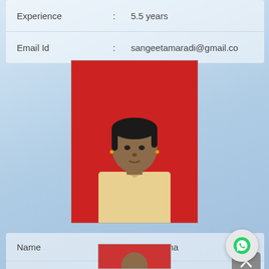| Field | : | Value |
| --- | --- | --- |
| Experience | : | 5.5 years |
| Email Id | : | sangeetamaradi@gmail.co |
[Figure (photo): Headshot photo of Mrs. Fatima against a red background, wearing a light yellow outfit]
| Field | : | Value |
| --- | --- | --- |
| Name | : | Mrs. Fatima |
| Designation | : | Asst. Prof. |
| Qualification | : | M. Tech. |
| Experience | : | 4.5 years |
| Email Id | : | fm161616@gma |
[Figure (photo): Partial headshot photo visible at bottom of page, red background]